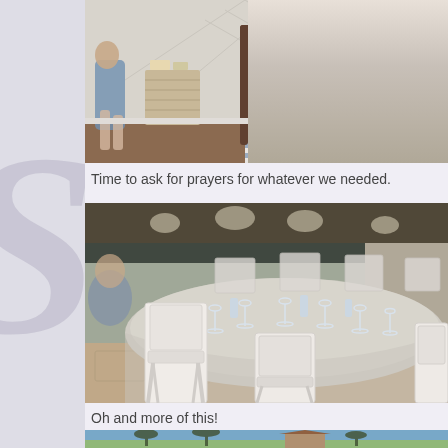[Figure (photo): Interior room scene with a person sitting in a chair, a decorative side table with items on top, and a striped upholstered armchair with colorful bags/gifts in it, against a white geometric-patterned wall]
Time to ask for prayers for whatever we needed.
[Figure (photo): Outdoor event setup with round tables covered in light blue/white tablecloths, white folding chairs, wine glasses set on table, patio stone flooring, dark backdrop in background]
Oh and more of this!
[Figure (photo): Partial view of outdoor tropical scene with palm trees and tiki structures against blue sky]